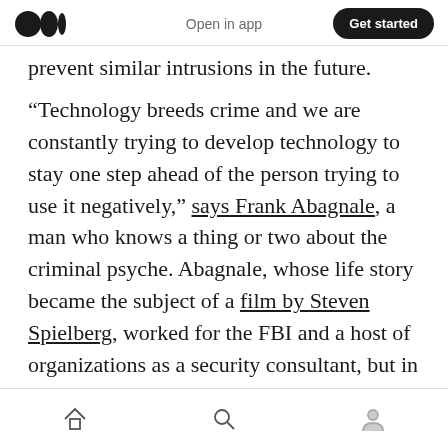Open in app  Get started
prevent similar intrusions in the future.
“Technology breeds crime and we are constantly trying to develop technology to stay one step ahead of the person trying to use it negatively,” says Frank Abagnale, a man who knows a thing or two about the criminal psyche. Abagnale, whose life story became the subject of a film by Steven Spielberg, worked for the FBI and a host of organizations as a security consultant, but in his youth was one of America’s most wanted criminals.
home  search  profile